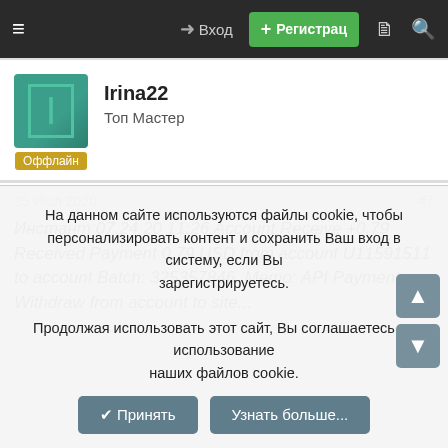≡  → Вход  + Регистрац  🗎  🔍
[Figure (other): User avatar: teal square with letter I outline and offline badge 'Оффлайн']
Irina22
Топ Мастер
25 Июл 2020   #7
Инстант 07.24.20 11:26 Account Receive +0.79 Received Payment 0.79 USD from account U11591511 to account Batch: 325357846. Memo: API Payment. Withdraw from ...
На данном сайте используются файлы cookie, чтобы персонализировать контент и сохранить Ваш вход в систему, если Вы зарегистрируетесь.
Продолжая использовать этот сайт, Вы соглашаетесь на использование наших файлов cookie.
✔ Принять   Узнать больше...